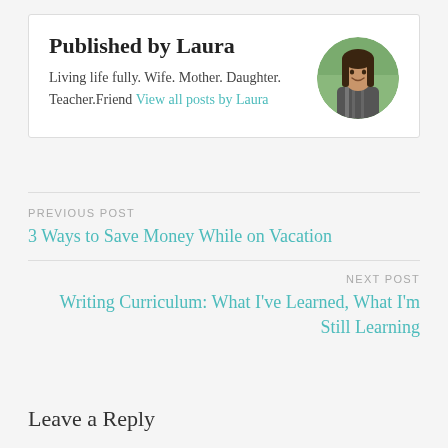Published by Laura
Living life fully. Wife. Mother. Daughter. Teacher.Friend View all posts by Laura
[Figure (photo): Circular avatar photo of Laura, a woman with long dark hair, smiling, outdoors with green background]
PREVIOUS POST
3 Ways to Save Money While on Vacation
NEXT POST
Writing Curriculum: What I've Learned, What I'm Still Learning
Leave a Reply